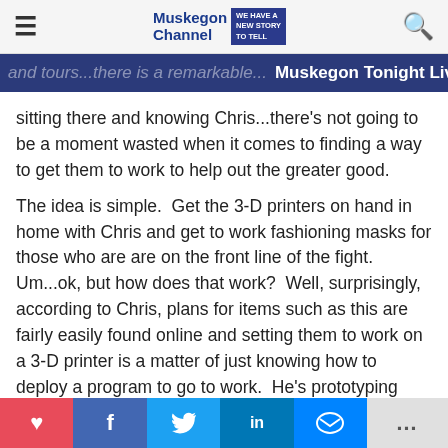Muskegon Channel — navigation bar with hamburger menu and search icon
and tours...there is a remarkable... Muskegon Tonight Live St
sitting there and knowing Chris...there's not going to be a moment wasted when it comes to finding a way to get them to work to help out the greater good.
The idea is simple.  Get the 3-D printers on hand in home with Chris and get to work fashioning masks for those who are are on the front line of the fight.  Um...ok, but how does that work?  Well, surprisingly, according to Chris, plans for items such as this are fairly easily found online and setting them to work on a 3-D printer is a matter of just knowing how to deploy a program to go to work.  He's prototyping now.  In fact, he's using a 2 liter as the "mask" on the frame and in our discussion, he talks about what's
♥  f  t  in  messenger  ...